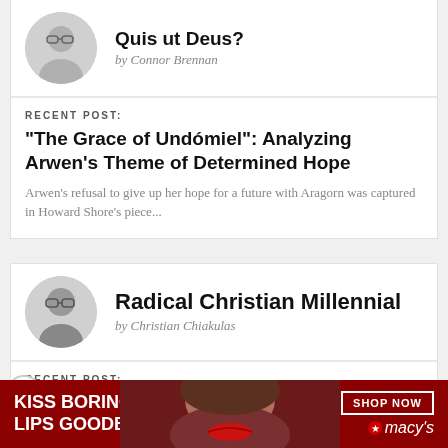Quis ut Deus?
by Connor Brennan
RECENT POST:
"The Grace of Undómiel": Analyzing Arwen's Theme of Determined Hope
Arwen's refusal to give up her hope for a future with Aragorn was captured in Howard Shore's piece...
Radical Christian Millennial
by Christian Chiakulas
RECENT POST:
Here's Why Productivity Doesn't Raise Wages Anymore
[Figure (photo): Macy's advertisement banner: woman with red lips, text 'KISS BORING LIPS GOODBYE', SHOP NOW button, Macy's logo]